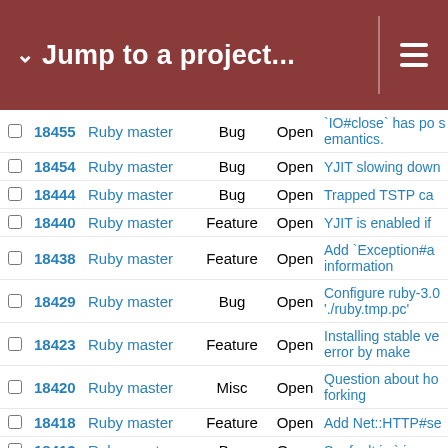Jump to a project...
|  | # | Project | Tracker | Status | Subject |
| --- | --- | --- | --- | --- | --- |
|  | 18455 | Ruby master | Bug | Open | IO#close` has po semantics. |
|  | 18454 | Ruby master | Bug | Open | YJIT slowing down |
|  | 18444 | Ruby master | Bug | Open | Trapped TSTP ca |
|  | 18440 | Ruby master | Feature | Open | YJIT is enabled if |
|  | 18438 | Ruby master | Feature | Open | Add `Exception#a information |
|  | 18429 | Ruby master | Bug | Open | Configure ruby-3.0 './ruby.tmp.pc' |
|  | 18423 | Ruby master | Feature | Open | Installing stable ve error by make |
|  | 18420 | Ruby master | Misc | Open | Question about ho forking |
|  | 18418 | Ruby master | Feature | Open | Add Net::HTTP#se |
|  | 18413 | Ruby master | Bug | Open | Segfault in `ripper. |
|  | 18412 | Ruby master | Bug | Open | Segfault in test_ra |
|  | 18411 | Ruby master | Feature | Open | Introduce `Fiber.bl |
|  | 18410 | Ruby master | Feature | Open | Proposal to make |
|  | 18402 | Ruby master | Feature | Open | Argument Labels |
|  | 18401 | Ruby master | Feature | Open | Rework `require_r `$LOAD_PATH` |